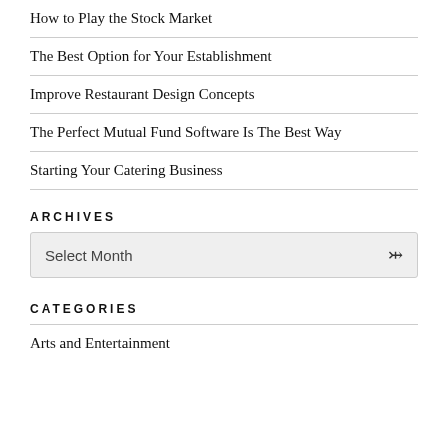How to Play the Stock Market
The Best Option for Your Establishment
Improve Restaurant Design Concepts
The Perfect Mutual Fund Software Is The Best Way
Starting Your Catering Business
ARCHIVES
[Figure (other): A dropdown select box labeled 'Select Month' with a down arrow chevron on the right, styled with a light gray background and border.]
CATEGORIES
Arts and Entertainment